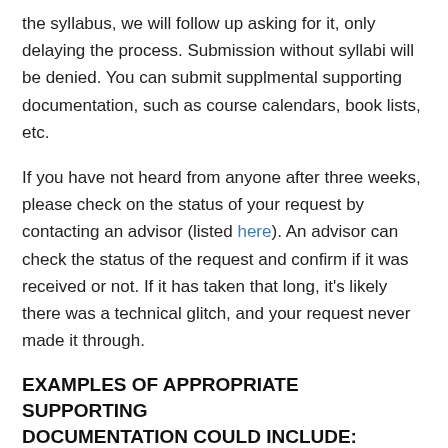the syllabus, we will follow up asking for it, only delaying the process. Submission without syllabi will be denied. You can submit supplmental supporting documentation, such as course calendars, book lists, etc.
If you have not heard from anyone after three weeks, please check on the status of your request by contacting an advisor (listed here). An advisor can check the status of the request and confirm if it was received or not. If it has taken that long, it's likely there was a technical glitch, and your request never made it through.
EXAMPLES OF APPROPRIATE SUPPORTING DOCUMENTATION COULD INCLUDE:
Course syllabus with detailed information about topics covered, textbook used, grading scheme, lab experiments conducted, course pre-requisites, intended audience, credit